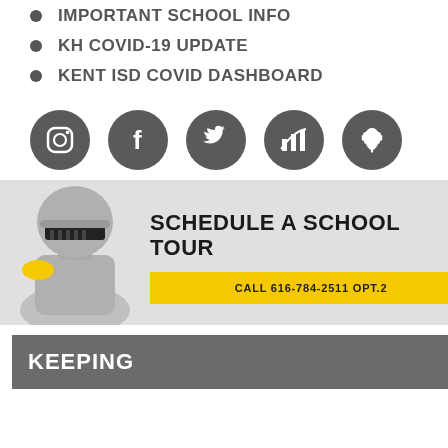IMPORTANT SCHOOL INFO
KH COVID-19 UPDATE
KENT ISD COVID DASHBOARD
[Figure (infographic): Five dark gray social media icon circles: Instagram, Facebook, Twitter, a chart/dashboard icon, and a Michigan state icon]
[Figure (illustration): School tour banner with a knight mascot illustration on the left, bold text SCHEDULE A SCHOOL TOUR, and a yellow button reading CALL 616-784-2511 OPT.2 on a light gray background]
KEEPING